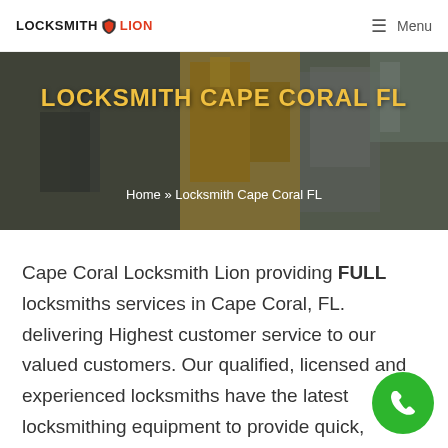LOCKSMITH LION  ☰ Menu
[Figure (photo): Hero background photo of locksmith equipment/tools with yellow machinery visible, overlaid with semi-transparent dark layer]
LOCKSMITH CAPE CORAL FL
Home » Locksmith Cape Coral FL
Cape Coral Locksmith Lion providing FULL locksmiths services in Cape Coral, FL. delivering Highest customer service to our valued customers. Our qualified, licensed and experienced locksmiths have the latest locksmithing equipment to provide quick, reliable and professional locksmith servi the Cape Coral area and nearby.
[Figure (illustration): Green circular phone call button in bottom right corner]